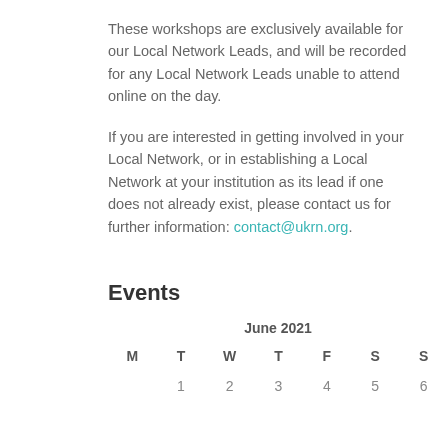These workshops are exclusively available for our Local Network Leads, and will be recorded for any Local Network Leads unable to attend online on the day.
If you are interested in getting involved in your Local Network, or in establishing a Local Network at your institution as its lead if one does not already exist, please contact us for further information: contact@ukrn.org.
Events
| M | T | W | T | F | S | S |
| --- | --- | --- | --- | --- | --- | --- |
|  | 1 | 2 | 3 | 4 | 5 | 6 |